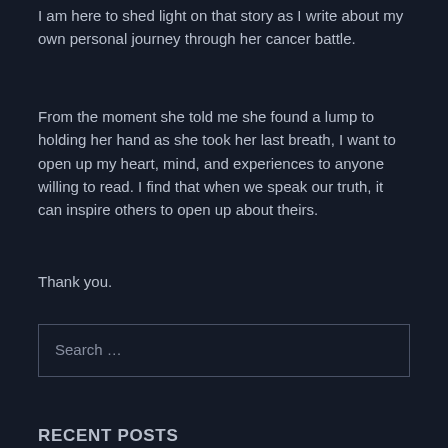I am here to shed light on that story as I write about my own personal journey through her cancer battle.
From the moment she told me she found a lump to holding her hand as she took her last breath, I want to open up my heart, mind, and experiences to anyone willing to read. I find that when we speak our truth, it can inspire others to open up about theirs.
Thank you.
Search …
RECENT POSTS